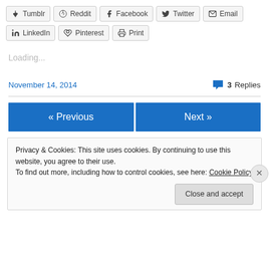[Figure (other): Row of social share buttons: Tumblr, Reddit, Facebook, Twitter, Email]
[Figure (other): Row of social share buttons: LinkedIn, Pinterest, Print]
Loading...
November 14, 2014    💬 3 Replies
[Figure (other): Navigation buttons: « Previous and Next »]
Privacy & Cookies: This site uses cookies. By continuing to use this website, you agree to their use.
To find out more, including how to control cookies, see here: Cookie Policy
Close and accept